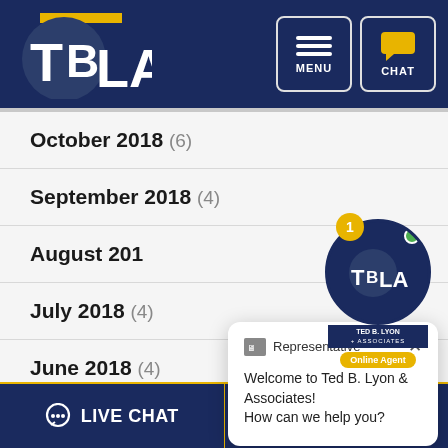[Figure (logo): TBLA Ted B. Lyon & Associates logo on dark navy background with MENU and CHAT buttons]
October 2018 (6)
September 2018 (4)
August 201...
July 2018 (4)
June 2018 (4)
May 2018 (4)
April 2018 (2)
[Figure (screenshot): Chat popup: Representative icon, close X, message: Welcome to Ted B. Lyon & Associates! How can we help you?]
[Figure (logo): TBLA chat widget bubble with badge showing 1, online agent tag, TED B. LYON + ASSOCIATES text]
LIVE CHAT   TEXT US